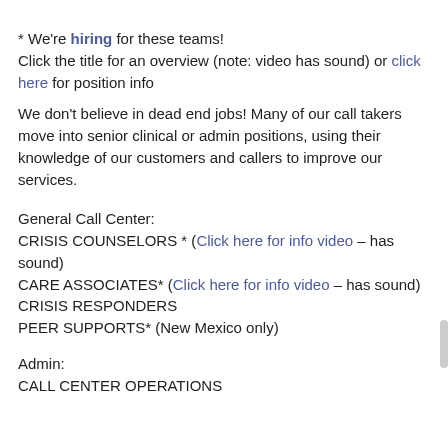* We're hiring for these teams! Click the title for an overview (note: video has sound) or click here for position info
We don't believe in dead end jobs! Many of our call takers move into senior clinical or admin positions, using their knowledge of our customers and callers to improve our services.
General Call Center:
CRISIS COUNSELORS * (Click here for info video – has sound)
CARE ASSOCIATES* (Click here for info video – has sound)
CRISIS RESPONDERS
PEER SUPPORTS* (New Mexico only)
Admin:
CALL CENTER OPERATIONS